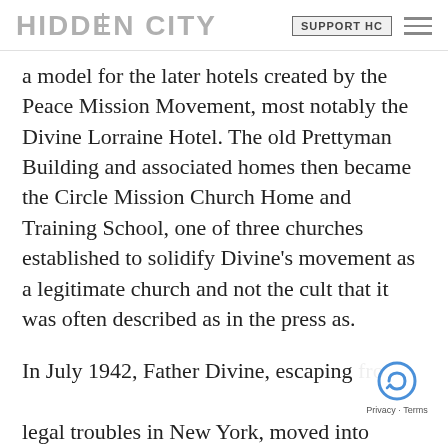HIDDEN CITY | SUPPORT HC
a model for the later hotels created by the Peace Mission Movement, most notably the Divine Lorraine Hotel. The old Prettyman Building and associated homes then became the Circle Mission Church Home and Training School, one of three churches established to solidify Divine's movement as a legitimate church and not the cult that it was often described as in the press as.
In July 1942, Father Divine, escaping from legal troubles in New York, moved into combined 764-772 South Broad buildings